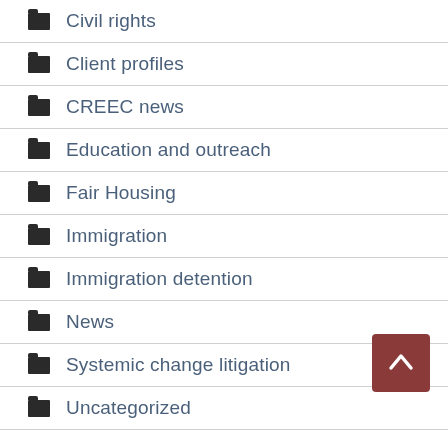Civil rights
Client profiles
CREEC news
Education and outreach
Fair Housing
Immigration
Immigration detention
News
Systemic change litigation
Uncategorized